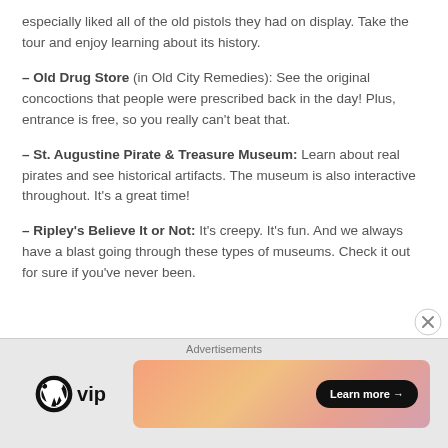especially liked all of the old pistols they had on display. Take the tour and enjoy learning about its history.
– Old Drug Store (in Old City Remedies): See the original concoctions that people were prescribed back in the day! Plus, entrance is free, so you really can't beat that.
– St. Augustine Pirate & Treasure Museum: Learn about real pirates and see historical artifacts. The museum is also interactive throughout. It's a great time!
– Ripley's Believe It or Not: It's creepy. It's fun. And we always have a blast going through these types of museums. Check it out for sure if you've never been.
Advertisements